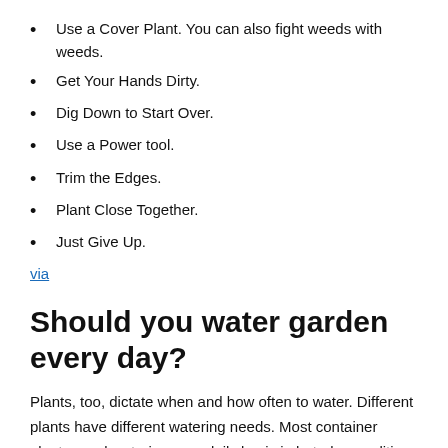Use a Cover Plant. You can also fight weeds with weeds.
Get Your Hands Dirty.
Dig Down to Start Over.
Use a Power tool.
Trim the Edges.
Plant Close Together.
Just Give Up.
via
Should you water garden every day?
Plants, too, dictate when and how often to water. Different plants have different watering needs. Most container plants need watering on a daily basis in hot, dry conditions — sometimes twice or even three times a day. When to water gardens also includes the time of day. via